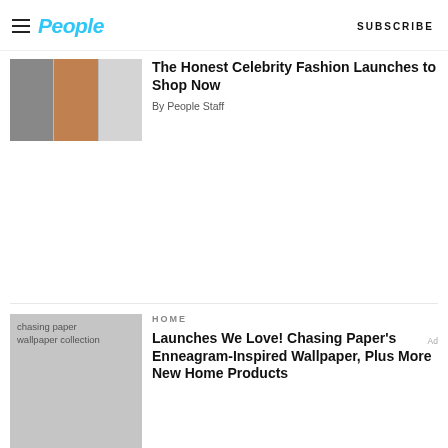People  SUBSCRIBE
[Figure (photo): Three fashion images side by side showing women's clothing items]
The Honest Celebrity Fashion Launches to Shop Now
By People Staff
[Figure (photo): chasing paper wallpaper collection - gray placeholder with text]
HOME
Launches We Love! Chasing Paper's Enneagram-Inspired Wallpaper, Plus More New Home Products
By Hannah Chubb and Mackenzie